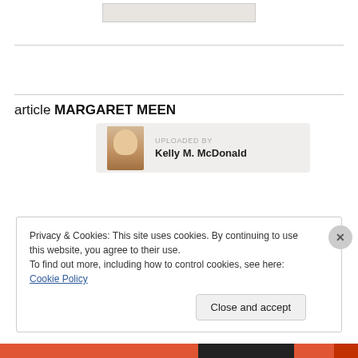[Figure (other): Top cropped image thumbnail area]
article MARGARET MEEN
[Figure (other): Uploader card showing portrait of a woman with text UPLOADED BY Kelly M. McDonald]
Privacy & Cookies: This site uses cookies. By continuing to use this website, you agree to their use.
To find out more, including how to control cookies, see here: Cookie Policy
Close and accept